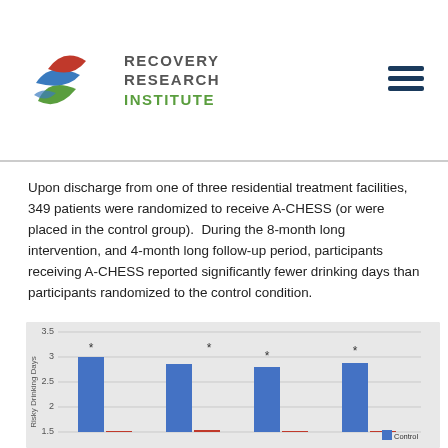[Figure (logo): Recovery Research Institute logo with stylized leaf/wave shapes in blue, red, and green, followed by text 'RECOVERY RESEARCH INSTITUTE']
Upon discharge from one of three residential treatment facilities, 349 patients were randomized to receive A-CHESS (or were placed in the control group).  During the 8-month long intervention, and 4-month long follow-up period, participants receiving A-CHESS reported significantly fewer drinking days than participants randomized to the control condition.
[Figure (grouped-bar-chart): Grouped bar chart showing risky drinking days for Control (red) and A-CHESS (blue) groups across multiple time periods. Blue bars are consistently taller (~3.0, 2.65, 2.6, 2.75) and red bars shorter (~1.5, 1.55, 1.5, 1.5). Asterisks mark significant differences.]